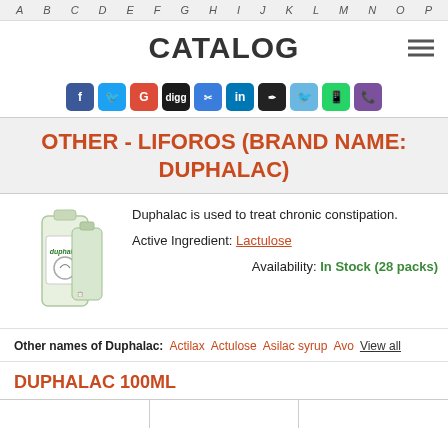A B C D E F G H I J K L M N O P
CATALOG
[Figure (infographic): Row of social media sharing icons: Facebook, Twitter, Google+, Digg, Delicious, LinkedIn, Pinterest, Twitter bird, WhatsApp, Viber]
OTHER - LIFOROS (BRAND NAME: DUPHALAC)
[Figure (photo): Photo of Duphalac product bottles (duphalac brand, green/white packaging)]
Duphalac is used to treat chronic constipation.
Active Ingredient: Lactulose
Availability: In Stock (28 packs)
Other names of Duphalac: Actilax  Actulose  Asilac syrup  Avo  View all
DUPHALAC 100ML